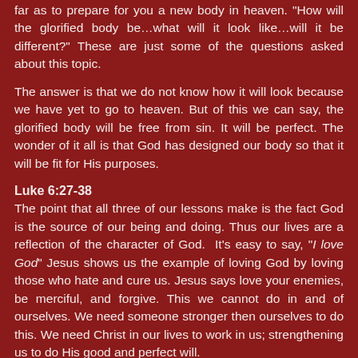far as to prepare for you a new body in heaven. "How will the glorified body be…what will it look like…will it be different?" These are just some of the questions asked about this topic.
The answer is that we do not know how it will look because we have yet to go to heaven. But of this we can say, the glorified body will be free from sin. It will be perfect. The wonder of it all is that God has designed our body so that it will be fit for His purposes.
Luke 6:27-38
The point that all three of our lessons make is the fact God is the source of our being and doing. Thus our lives are a reflection of the character of God. It's easy to say, "I love God" Jesus shows us the example of loving God by loving those who hate and cure us. Jesus says love your enemies, be merciful, and forgive. This we cannot do in and of ourselves. We need someone stronger then ourselves to do this. We need Christ in our lives to work in us; strengthening us to do His good and perfect will.
Luke 6:27-38